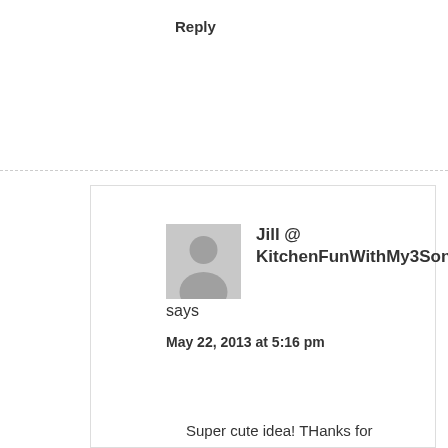Reply
[Figure (illustration): Gray avatar placeholder image showing a silhouette of a person]
Jill @ KitchenFunWithMy3Sons.com says
May 22, 2013 at 5:16 pm
Super cute idea! THanks for sharing with our Kitchen Fun & Crafty link party!:)
Reply